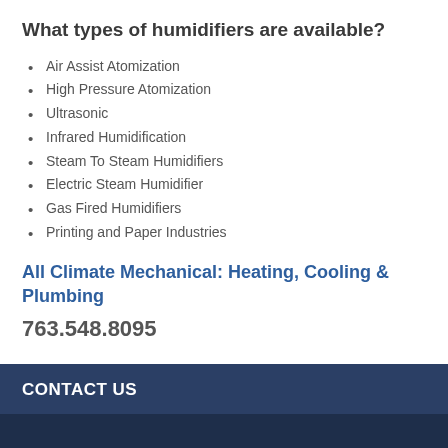What types of humidifiers are available?
Air Assist Atomization
High Pressure Atomization
Ultrasonic
Infrared Humidification
Steam To Steam Humidifiers
Electric Steam Humidifier
Gas Fired Humidifiers
Printing and Paper Industries
All Climate Mechanical: Heating, Cooling & Plumbing
763.548.8095
CONTACT US